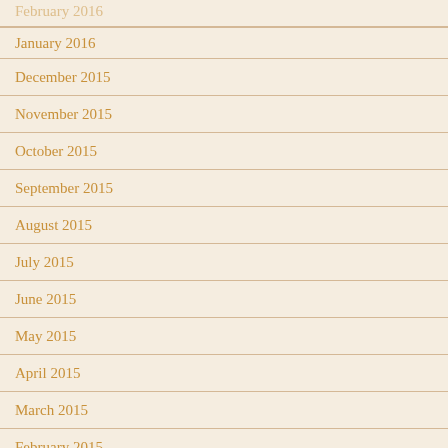February 2016 (partial, cropped)
January 2016
December 2015
November 2015
October 2015
September 2015
August 2015
July 2015
June 2015
May 2015
April 2015
March 2015
February 2015
January 2015
December 2014
November 2014